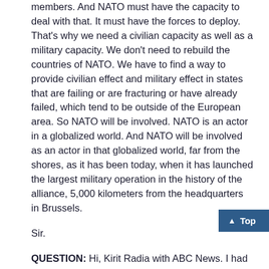members. And NATO must have the capacity to deal with that. It must have the forces to deploy. That's why we need a civilian capacity as well as a military capacity. We don't need to rebuild the countries of NATO. We have to find a way to provide civilian effect and military effect in states that are failing or are fracturing or have already failed, which tend to be outside of the European area. So NATO will be involved. NATO is an actor in a globalized world. And NATO will be involved as an actor in that globalized world, far from the shores, as it has been today, when it has launched the largest military operation in the history of the alliance, 5,000 kilometers from the headquarters in Brussels.
Sir.
QUESTION: Hi, Kirit Radia with ABC News. I had a question for you about Russia. Responding to the Secretary's speech, the Russians seemed to reject her outstretched hand for increased dialogue and her assertion that the expansion of the alliance poses no threat to Russia. How do you get past this with the Russians? What steps do you take? And what